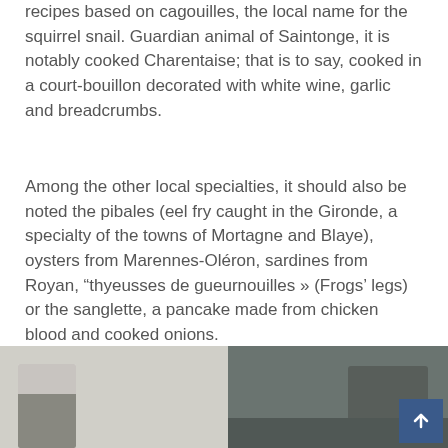recipes based on cagouilles, the local name for the squirrel snail. Guardian animal of Saintonge, it is notably cooked Charentaise; that is to say, cooked in a court-bouillon decorated with white wine, garlic and breadcrumbs.
Among the other local specialties, it should also be noted the pibales (eel fry caught in the Gironde, a specialty of the towns of Mortagne and Blaye), oysters from Marennes-Oléron, sardines from Royan, “thyeusses de gueurnouilles » (Frogs' legs) or the sanglette, a pancake made from chicken blood and cooked onions.
[Figure (photo): Partial photo at the bottom of the page showing outdoor/nature scene, partially cut off. A dark figure visible on the left side and a rocky or landscape scene on the right.]